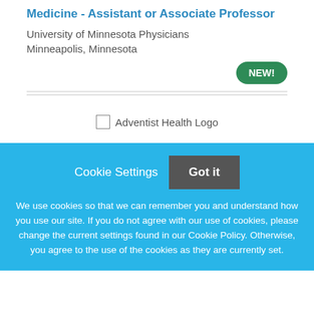Medicine - Assistant or Associate Professor
University of Minnesota Physicians
Minneapolis, Minnesota
[Figure (logo): NEW! badge - green rounded button]
[Figure (logo): Adventist Health Logo placeholder image]
Cookie Settings
Got it
We use cookies so that we can remember you and understand how you use our site. If you do not agree with our use of cookies, please change the current settings found in our Cookie Policy. Otherwise, you agree to the use of the cookies as they are currently set.